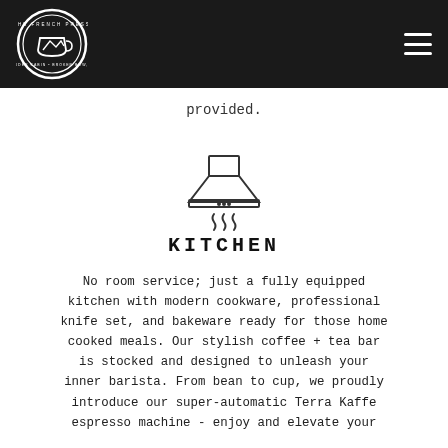The French Press (logo and navigation)
provided.
[Figure (illustration): Kitchen range hood / extractor fan icon with steam lines below it]
KITCHEN
No room service; just a fully equipped kitchen with modern cookware, professional knife set, and bakeware ready for those home cooked meals. Our stylish coffee + tea bar is stocked and designed to unleash your inner barista. From bean to cup, we proudly introduce our super-automatic Terra Kaffe espresso machine - enjoy and elevate your